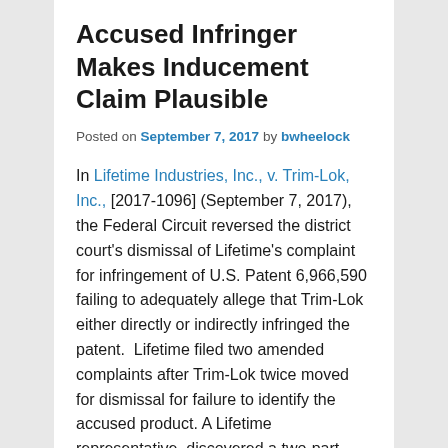Accused Infringer Makes Inducement Claim Plausible
Posted on September 7, 2017 by bwheelock
In Lifetime Industries, Inc., v. Trim-Lok, Inc., [2017-1096] (September 7, 2017), the Federal Circuit reversed the district court's dismissal of Lifetime's complaint for infringement of U.S. Patent 6,966,590 failing to adequately allege that Trim-Lok either directly or indirectly infringed the patent.  Lifetime filed two amended complaints after Trim-Lok twice moved for dismissal for failure to identify the accused product. A Lifetime representative  discovered a two-part Trim-Lok seal installed on an RV with a slideout room at a plant run by a third party.  On Trim-Lok's third motion, the district court determined that Lifetime had adequately identified the accused product, but that Lifetime had not adequately pleaded its case.